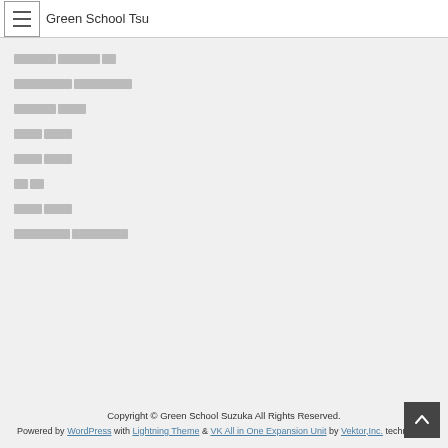Green School Tsu
[Japanese navigation item 1]
[Japanese navigation item 2]
[Japanese navigation item 3]
[Japanese navigation item 4]
[Japanese navigation item 5]
[Japanese navigation item 6]
[Japanese navigation item 7]
[Japanese navigation item 8]
Copyright © Green School Suzuka All Rights Reserved. Powered by WordPress with Lightning Theme & VK All in One Expansion Unit by Vektor,Inc. technology.